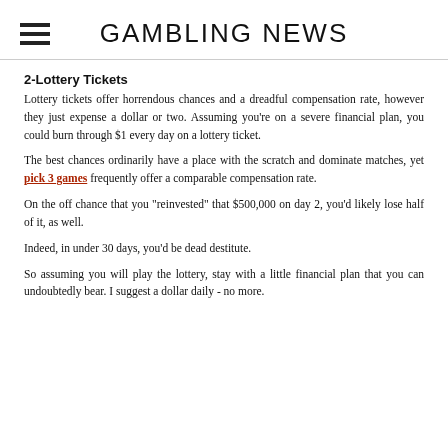GAMBLING NEWS
2-Lottery Tickets
Lottery tickets offer horrendous chances and a dreadful compensation rate, however they just expense a dollar or two. Assuming you're on a severe financial plan, you could burn through $1 every day on a lottery ticket.
The best chances ordinarily have a place with the scratch and dominate matches, yet pick 3 games frequently offer a comparable compensation rate.
On the off chance that you "reinvested" that $500,000 on day 2, you'd likely lose half of it, as well.
Indeed, in under 30 days, you'd be dead destitute.
So assuming you will play the lottery, stay with a little financial plan that you can undoubtedly bear. I suggest a dollar daily - no more.